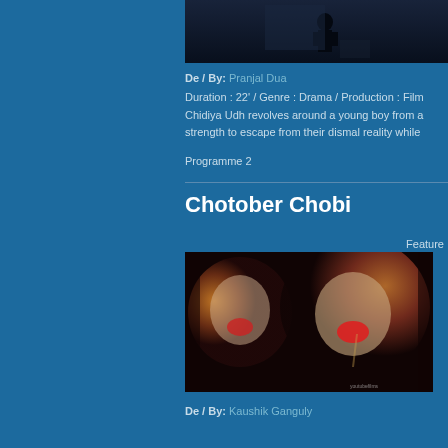[Figure (photo): Dark film still showing a silhouette of a person in a dimly lit room with blue tones]
De / By: Pranjal Dua
Duration : 22' / Genre : Drama / Production : Film...
Chidiya Udh revolves around a young boy from a... strength to escape from their dismal reality while...
Programme 2
Chotober Chobi
Feature
[Figure (photo): Film still showing two clown-faced performers with colorful makeup against a dark background]
De / By: Kaushik Ganguly